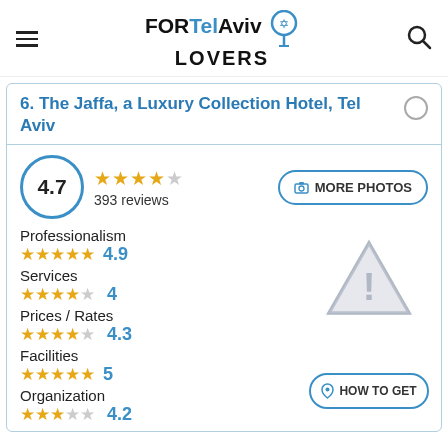FOR Tel Aviv LOVERS
6. The Jaffa, a Luxury Collection Hotel, Tel Aviv
4.7 — 393 reviews
MORE PHOTOS
Professionalism ★★★★★ 4.9
Services ★★★★☆ 4
Prices / Rates ★★★★☆ 4.3
Facilities ★★★★★ 5
Organization ★★★★☆ 4.2
HOW TO GET